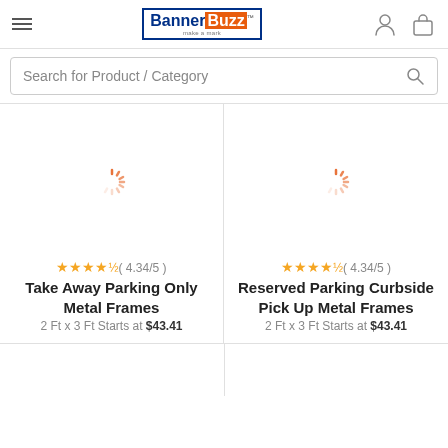[Figure (logo): BannerBuzz logo with blue border, blue 'Banner' text and orange 'Buzz' text]
Search for Product / Category
[Figure (photo): Loading spinner for Take Away Parking Only Metal Frames product image]
★★★★½ ( 4.34/5 )
Take Away Parking Only Metal Frames
2 Ft x 3 Ft Starts at $43.41
[Figure (photo): Loading spinner for Reserved Parking Curbside Pick Up Metal Frames product image]
★★★★½ ( 4.34/5 )
Reserved Parking Curbside Pick Up Metal Frames
2 Ft x 3 Ft Starts at $43.41